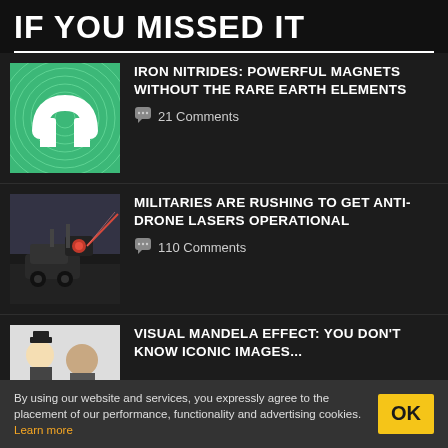IF YOU MISSED IT
IRON NITRIDES: POWERFUL MAGNETS WITHOUT THE RARE EARTH ELEMENTS
💬 21 Comments
MILITARIES ARE RUSHING TO GET ANTI-DRONE LASERS OPERATIONAL
💬 110 Comments
VISUAL MANDELA EFFECT: YOU DON'T KNOW ICONIC IMAGES...
By using our website and services, you expressly agree to the placement of our performance, functionality and advertising cookies. Learn more